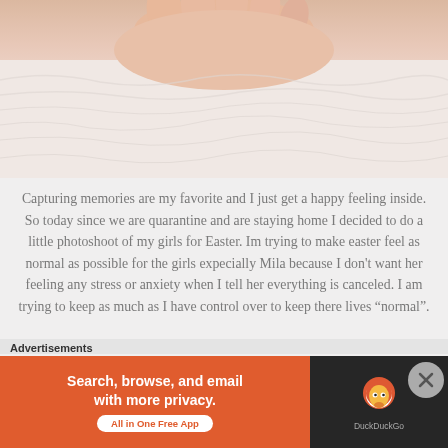[Figure (photo): Close-up photo of a hand resting on soft white/pink fluffy fabric or blanket]
Capturing memories are my favorite and I just get a happy feeling inside. So today since we are quarantine and are staying home I decided to do a little photoshoot of my girls for Easter. Im trying to make easter feel as normal as possible for the girls expecially Mila because I don't want her feeling any stress or anxiety when I tell her everything is canceled. I am trying to keep as much as I have control over to keep there lives “normal”.
[Figure (photo): Bottom portion of photo strip showing soft pink/peach tones, left side]
[Figure (photo): Bottom portion of photo strip showing soft pink/peach tones, right side]
Advertisements
[Figure (screenshot): DuckDuckGo advertisement: Search, browse, and email with more privacy. All in One Free App]